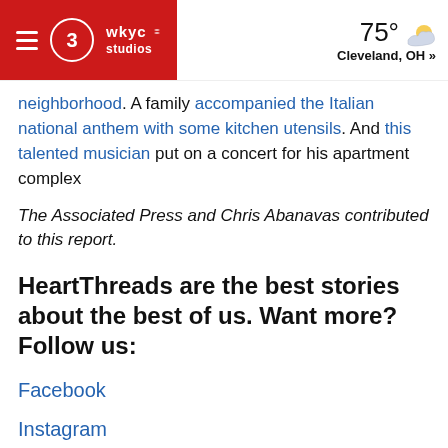WKYC Studios | 75° Cleveland, OH »
neighborhood. A family accompanied the Italian national anthem with some kitchen utensils. And this talented musician put on a concert for his apartment complex
The Associated Press and Chris Abanavas contributed to this report.
HeartThreads are the best stories about the best of us. Want more? Follow us:
Facebook
Instagram
Twitter
YouTube
Snapchat